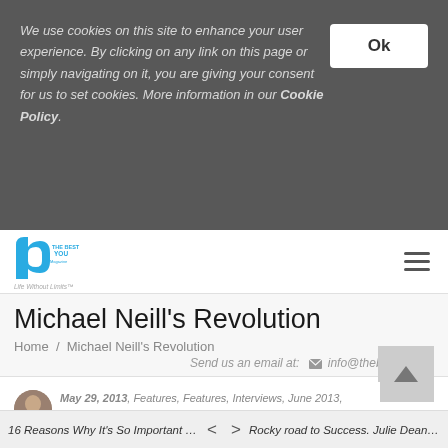We use cookies on this site to enhance your user experience. By clicking on any link on this page or simply navigating on it, you are giving your consent for us to set cookies. More information in our Cookie Policy.
[Figure (logo): The Best You magazine logo - blue letter b with 'THE BEST YOU' text and tagline 'Life Without Limits']
Michael Neill's Revolution
Home / Michael Neill's Revolution
Send us an email at: info@thebestyou.co
May 29, 2013, Features, Features, Interviews, June 2013, bernardo, Michael Neill
moya, finding happiness, Inside Out Revolution, interview, michael neill, road less
16 Reasons Why It's So Important T... < > Rocky road to Success. Julie Deane...